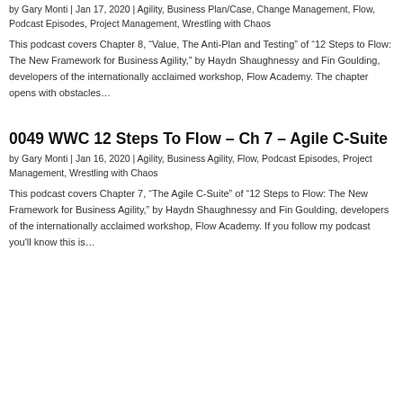by Gary Monti | Jan 17, 2020 | Agility, Business Plan/Case, Change Management, Flow, Podcast Episodes, Project Management, Wrestling with Chaos
This podcast covers Chapter 8, “Value, The Anti-Plan and Testing” of “12 Steps to Flow: The New Framework for Business Agility,” by Haydn Shaughnessy and Fin Goulding, developers of the internationally acclaimed workshop, Flow Academy. The chapter opens with obstacles…
0049 WWC 12 Steps To Flow – Ch 7 – Agile C-Suite
by Gary Monti | Jan 16, 2020 | Agility, Business Agility, Flow, Podcast Episodes, Project Management, Wrestling with Chaos
This podcast covers Chapter 7, “The Agile C-Suite” of “12 Steps to Flow: The New Framework for Business Agility,” by Haydn Shaughnessy and Fin Goulding, developers of the internationally acclaimed workshop, Flow Academy. If you follow my podcast you'll know this is…